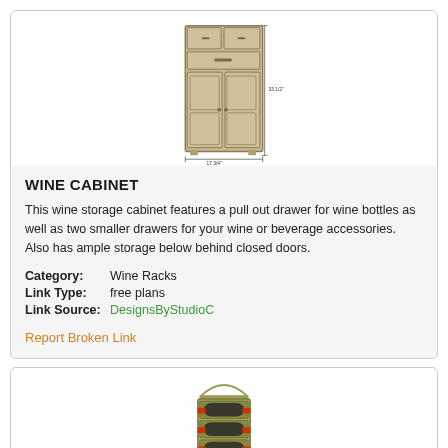[Figure (illustration): A wooden wine cabinet with two small drawers on top, a pull-out drawer in the middle, and two closed doors below. Dimension lines show measurements.]
WINE CABINET
This wine storage cabinet features a pull out drawer for wine bottles as well as two smaller drawers for your wine or beverage accessories. Also has ample storage below behind closed doors.
Category: Wine Racks
Link Type: free plans
Link Source: DesignsByStudioC
Report Broken Link
[Figure (illustration): A tall narrow wall-mounted wine rack holding multiple wine bottles horizontally, with red holders/brackets visible at each level.]